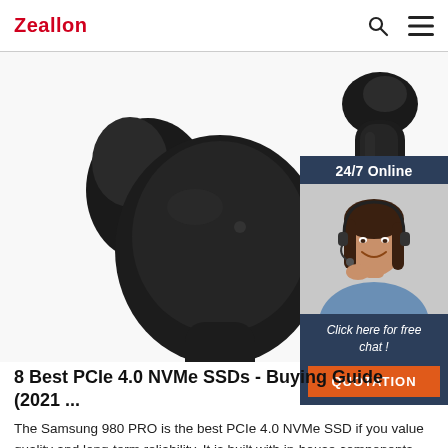Zeallon
[Figure (photo): Black wireless earbuds (TWS in-ear earphones) against a white background, showing two separate earbud units — one large with ear tip visible on the left, and one stem-style on the right]
[Figure (infographic): 24/7 Online chat widget with a smiling female customer service representative wearing a headset, with 'Click here for free chat!' text and an orange QUOTATION button]
8 Best PCIe 4.0 NVMe SSDs - Buying Guide (2021 ...
The Samsung 980 PRO is the best PCIe 4.0 NVMe SSD if you value quality and long-term reliability. It is built with in-house components, including the flash memory and controller, so you can have peace of mind knowing your performance will be